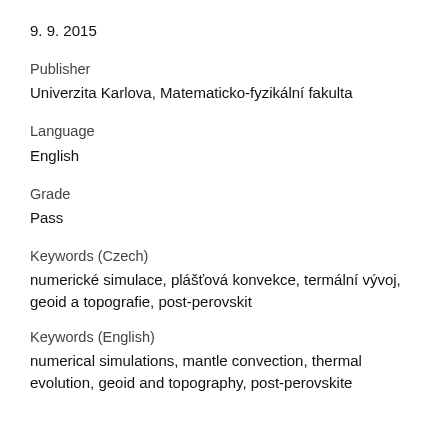9. 9. 2015
Publisher
Univerzita Karlova, Matematicko-fyzikální fakulta
Language
English
Grade
Pass
Keywords (Czech)
numerické simulace, plášťová konvekce, termální vývoj, geoid a topografie, post-perovskit
Keywords (English)
numerical simulations, mantle convection, thermal evolution, geoid and topography, post-perovskite